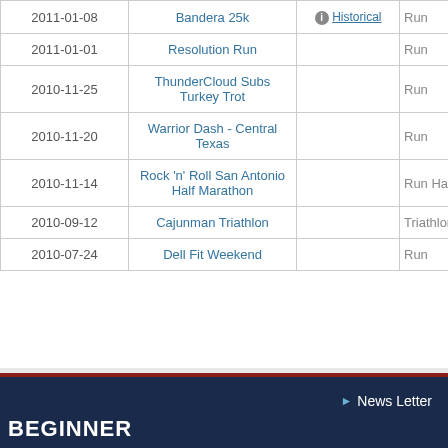| Date | Race Name | Historical | Type |
| --- | --- | --- | --- |
| 2011-01-08 | Bandera 25k | Historical | Run |
| 2011-01-01 | Resolution Run |  | Run |
| 2010-11-25 | ThunderCloud Subs Turkey Trot |  | Run |
| 2010-11-20 | Warrior Dash - Central Texas |  | Run |
| 2010-11-14 | Rock 'n' Roll San Antonio Half Marathon |  | Run Half |
| 2010-09-12 | Cajunman Triathlon |  | Triathlon |
| 2010-07-24 | Dell Fit Weekend |  | Run |
News Letter | BEGINNER